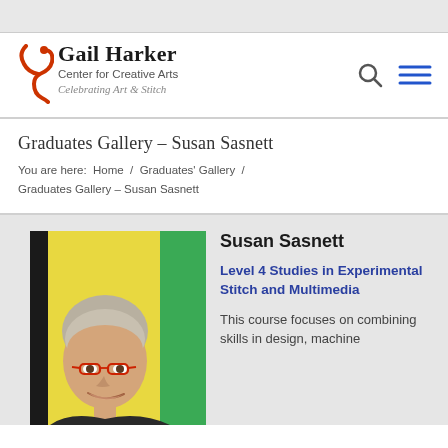[Figure (logo): Gail Harker Center for Creative Arts logo with stylized red hook icon, site name in bold serif, subtitle and italic tagline 'Celebrating Art & Stitch']
Graduates Gallery – Susan Sasnett
You are here:  Home  /  Graduates' Gallery  /  Graduates Gallery – Susan Sasnett
[Figure (photo): Portrait photo of Susan Sasnett, a woman with short gray hair and red glasses, smiling, standing in front of colorful artwork with a green panel]
Susan Sasnett
Level 4 Studies in Experimental Stitch and Multimedia
This course focuses on combining skills in design, machine